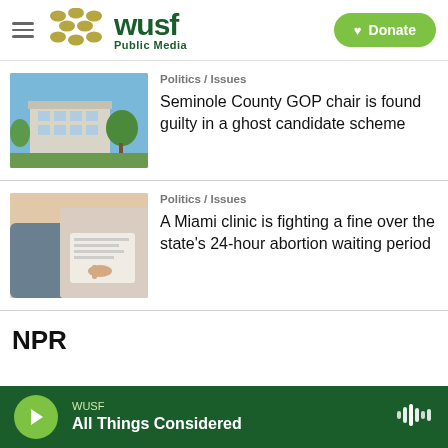WUSF Public Media — Donate
[Figure (photo): Building exterior with trees and blue sky — Seminole County article thumbnail]
Politics / Issues
Seminole County GOP chair is found guilty in a ghost candidate scheme
[Figure (photo): Person in medical/clinical setting reviewing documents — Miami clinic article thumbnail]
Politics / Issues
A Miami clinic is fighting a fine over the state's 24-hour abortion waiting period
NPR
WUSF
All Things Considered